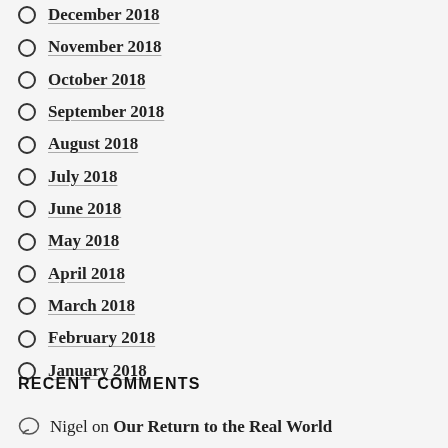December 2018
November 2018
October 2018
September 2018
August 2018
July 2018
June 2018
May 2018
April 2018
March 2018
February 2018
January 2018
RECENT COMMENTS
Nigel on Our Return to the Real World